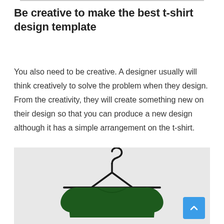Be creative to make the best t-shirt design template
You also need to be creative. A designer usually will think creatively to solve the problem when they design. From the creativity, they will create something new on their design so that you can produce a new design although it has a simple arrangement on the t-shirt.
[Figure (photo): A dark green t-shirt hanging on a black clothes hanger against a light grey background, with a blue scroll-to-top button in the bottom right corner.]